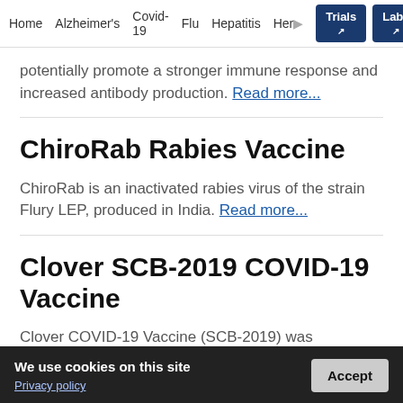Home | Alzheimer's | Covid-19 | Flu | Hepatitis | Her... | Trials | Labs
potentially promote a stronger immune response and increased antibody production. Read more...
ChiroRab Rabies Vaccine
ChiroRab is an inactivated rabies virus of the strain Flury LEP, produced in India. Read more...
Clover SCB-2019 COVID-19 Vaccine
Clover COVID-19 Vaccine (SCB-2019) was developed by
We use cookies on this site
Privacy policy